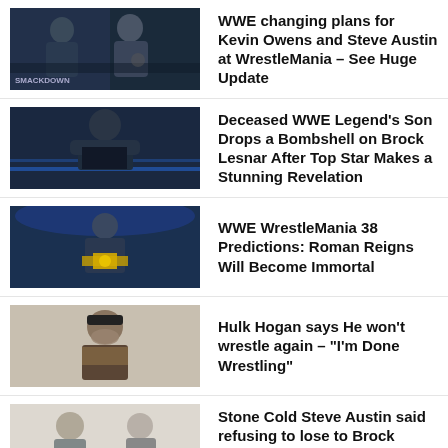[Figure (photo): Kevin Owens and Steve Austin facing each other on SmackDown stage]
WWE changing plans for Kevin Owens and Steve Austin at WrestleMania – See Huge Update
[Figure (photo): Brock Lesnar standing in the ring, looking intense]
Deceased WWE Legend's Son Drops a Bombshell on Brock Lesnar After Top Star Makes a Stunning Revelation
[Figure (photo): Roman Reigns holding the Universal Championship belt]
WWE WrestleMania 38 Predictions: Roman Reigns Will Become Immortal
[Figure (photo): Hulk Hogan with his hand over his mouth looking emotional]
Hulk Hogan says He won't wrestle again – "I'm Done Wrestling"
[Figure (photo): Stone Cold Steve Austin and Brock Lesnar side by side]
Stone Cold Steve Austin said refusing to lose to Brock Lesnar is his "biggest WWE regret"